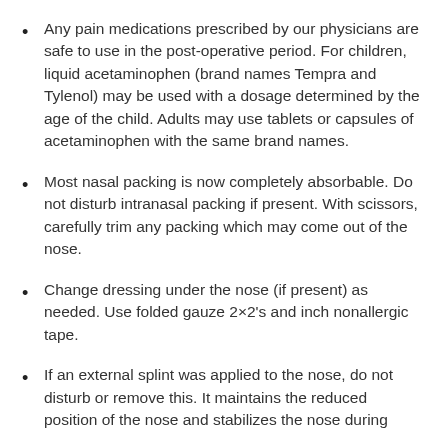Any pain medications prescribed by our physicians are safe to use in the post-operative period. For children, liquid acetaminophen (brand names Tempra and Tylenol) may be used with a dosage determined by the age of the child. Adults may use tablets or capsules of acetaminophen with the same brand names.
Most nasal packing is now completely absorbable. Do not disturb intranasal packing if present. With scissors, carefully trim any packing which may come out of the nose.
Change dressing under the nose (if present) as needed. Use folded gauze 2×2's and inch nonallergic tape.
If an external splint was applied to the nose, do not disturb or remove this. It maintains the reduced position of the nose and stabilizes the nose during